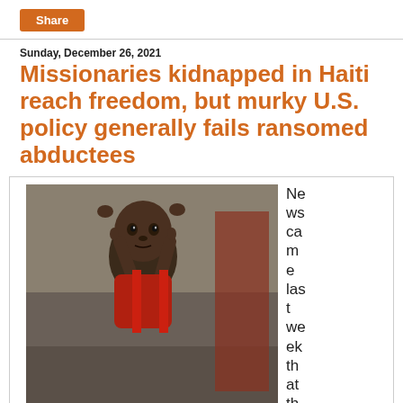Share
Sunday, December 26, 2021
Missionaries kidnapped in Haiti reach freedom, but murky U.S. policy generally fails ransomed abductees
[Figure (photo): Haitian child in 2012, a young boy with hands raised behind his head, wearing a red top]
Haitian child in 2012 (photo by Feed My Starving Children CC BY 2.0).
News came last week that the last 12 of 17 Christian missionaries abducted for ransom in